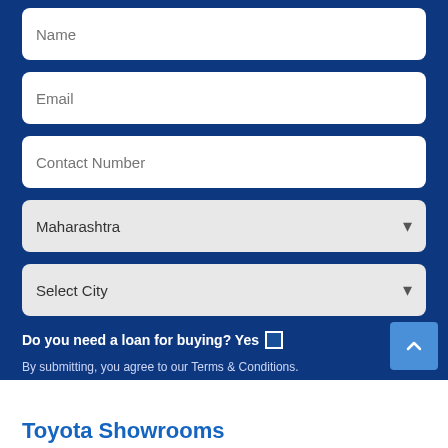[Figure (screenshot): A web form on a dark blue background with input fields for Name, Email, Contact Number, a Maharashtra state dropdown, a Select City dropdown, a loan checkbox, terms text, a CAPTCHA (5 2 3 2), a captcha entry field, and a Book Now button. Below the form is a white section with the heading Toyota Showrooms.]
Do you need a loan for buying? Yes
By submitting, you agree to our Terms & Conditions.
5 2 3 2
Enter the nos here
Book Now
Toyota Showrooms